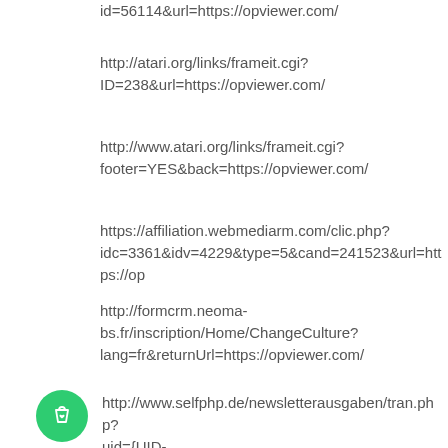id=56114&url=https://opviewer.com/
http://atari.org/links/frameit.cgi?ID=238&url=https://opviewer.com/
http://www.atari.org/links/frameit.cgi?footer=YES&back=https://opviewer.com/
https://affiliation.webmediarm.com/clic.php?idc=3361&idv=4229&type=5&cand=241523&url=https://op
http://formcrm.neoma-bs.fr/inscription/Home/ChangeCulture?lang=fr&returnUrl=https://opviewer.com/
http://www.selfphp.de/newsletterausgaben/tran.php?uid={UID-USER}.&dest=https://opviewer.com/